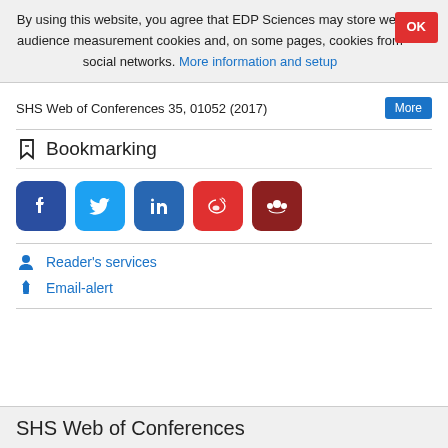By using this website, you agree that EDP Sciences may store web audience measurement cookies and, on some pages, cookies from social networks. More information and setup
SHS Web of Conferences 35, 01052 (2017)
Bookmarking
[Figure (other): Social sharing icons: Facebook (blue), Twitter (light blue), LinkedIn (dark blue), Weibo (red), Mendeley (dark red)]
Reader's services
Email-alert
SHS Web of Conferences